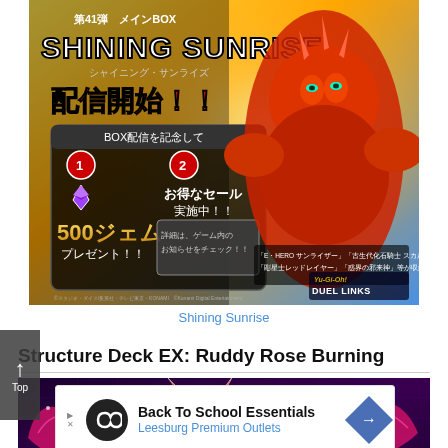[Figure (illustration): Yu-Gi-Oh Duel Links promotional banner for 第41弾 メインBOX SHINING SUNRISE (Shining Sunrise). Shows a red armored monster character on the right, and promotional text on the left including '配信開始!!' (Distribution starts!!), '500ジェム プレゼント!!' (500 Gems Present!!), 'BOX配信を記念して' (To commemorate BOX distribution), and 'お得なセール 実施中!!' (Special sale in progress!!). Yu-Gi-Oh! Duel Links logo at bottom right.]
Shining Sunrise
Structure Deck EX: Ruddy Rose Burning
[Figure (illustration): Yu-Gi-Oh Duel Links promotional image for Structure Deck EX: Ruddy Rose Burning. Shows a dramatic crimson/magenta dragon-like monster on a purple/dark background with sparkles. Yu-Gi-Oh! Duel Links logo visible.]
[Figure (screenshot): Advertisement banner: 'Back To School Essentials' for Leesburg Premium Outlets. Black circular logo with infinity symbol, blue diamond navigation icon on right.]